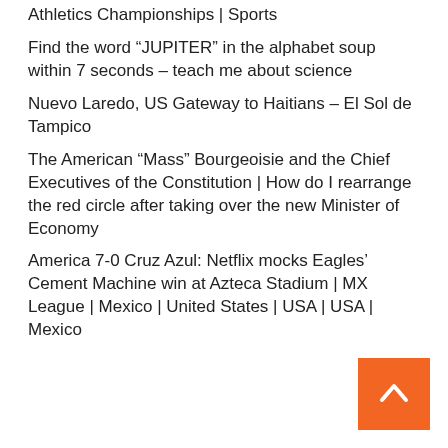Athletics Championships | Sports
Find the word “JUPITER” in the alphabet soup within 7 seconds – teach me about science
Nuevo Laredo, US Gateway to Haitians – El Sol de Tampico
The American “Mass” Bourgeoisie and the Chief Executives of the Constitution | How do I rearrange the red circle after taking over the new Minister of Economy
America 7-0 Cruz Azul: Netflix mocks Eagles’ Cement Machine win at Azteca Stadium | MX League | Mexico | United States | USA | USA | Mexico
[Figure (other): Orange back-to-top button with white upward chevron arrow]